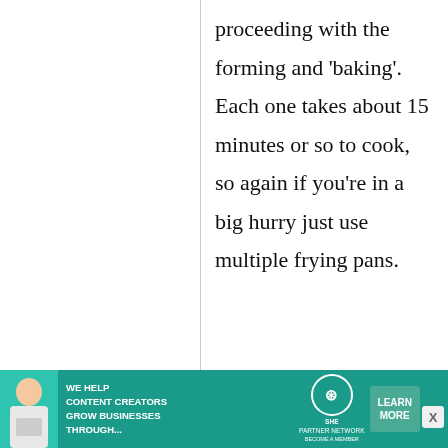proceeding with the forming and 'baking'. Each one takes about 15 minutes or so to cook, so again if you're in a big hurry just use multiple frying pans.
Nati
31 May, 2013 -
Re:
Homemade
[Figure (infographic): Advertisement banner for SHE Media Partner Network: 'We help content creators grow businesses through...' with a Learn More button and a woman with a laptop photo.]